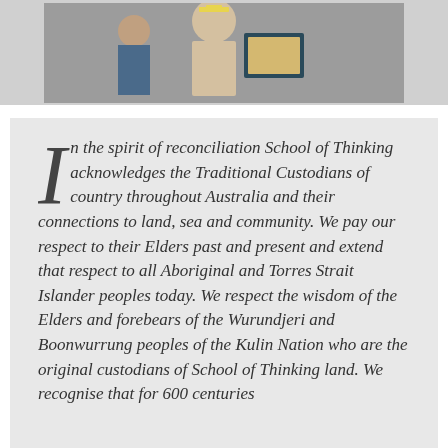[Figure (photo): Graduation ceremony photo showing a person in academic regalia holding a framed certificate or award]
In the spirit of reconciliation School of Thinking acknowledges the Traditional Custodians of country throughout Australia and their connections to land, sea and community. We pay our respect to their Elders past and present and extend that respect to all Aboriginal and Torres Strait Islander peoples today. We respect the wisdom of the Elders and forebears of the Wurundjeri and Boonwurrung peoples of the Kulin Nation who are the original custodians of School of Thinking land. We recognise that for 600 centuries